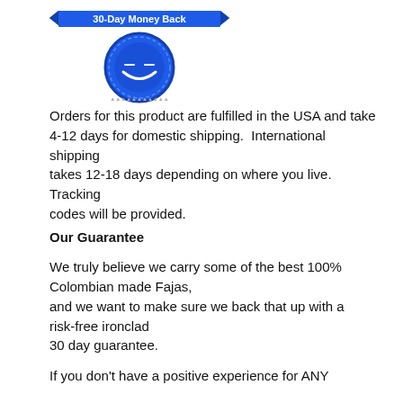[Figure (illustration): 30-Day Money Back guarantee badge — blue ribbon banner with text '30-Day Money Back' above a circular seal with gear/star border]
Orders for this product are fulfilled in the USA and take
4-12 days for domestic shipping.  International shipping
takes 12-18 days depending on where you live.  Tracking
codes will be provided.
Our Guarantee

We truly believe we carry some of the best 100% Colombian made Fajas,
and we want to make sure we back that up with a risk-free ironclad
30 day guarantee.

If you don't have a positive experience for ANY
Our Guarantee